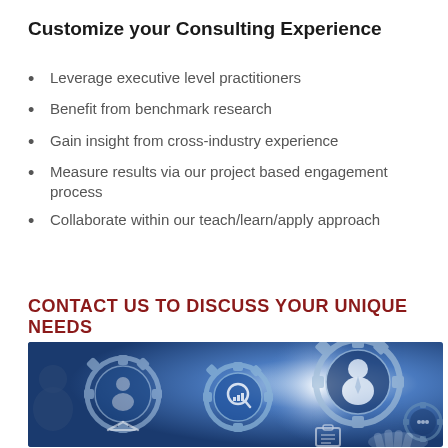Customize your Consulting Experience
Leverage executive level practitioners
Benefit from benchmark research
Gain insight from cross-industry experience
Measure results via our project based engagement process
Collaborate within our teach/learn/apply approach
CONTACT US TO DISCUSS YOUR UNIQUE NEEDS
[Figure (photo): Business consulting concept image with interlocking gears containing icons of a businessman, a magnifying glass with a bar chart, a handshake, and a clipboard, with another businessman figure in the background, blue toned professional image]